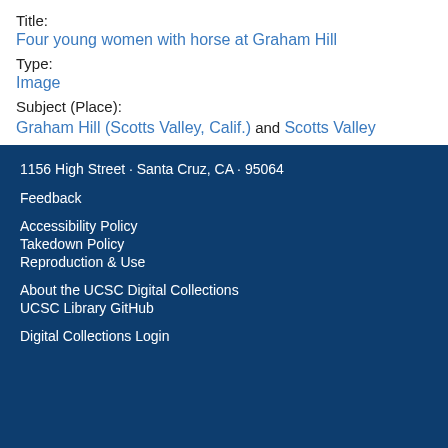Title:
Four young women with horse at Graham Hill
Type:
Image
Subject (Place):
Graham Hill (Scotts Valley, Calif.) and Scotts Valley
Subject (Topic):
1156 High Street · Santa Cruz, CA · 95064
Feedback
Accessibility Policy
Takedown Policy
Reproduction & Use
About the UCSC Digital Collections
UCSC Library GitHub
Digital Collections Login